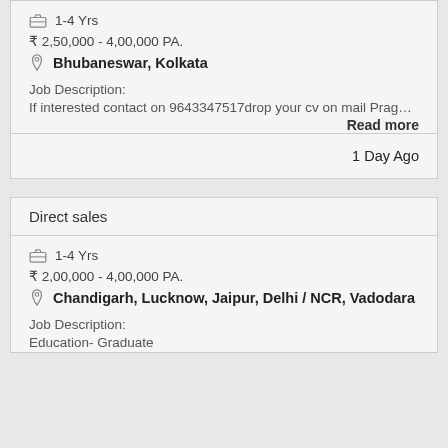1-4 Yrs
₹ 2,50,000 - 4,00,000 PA.
Bhubaneswar, Kolkata
Job Description:
If interested contact on 9643347517drop your cv on mail Prag…
Read more
1 Day Ago
Direct sales
1-4 Yrs
₹ 2,00,000 - 4,00,000 PA.
Chandigarh, Lucknow, Jaipur, Delhi / NCR, Vadodara
Job Description:
Education- Graduate